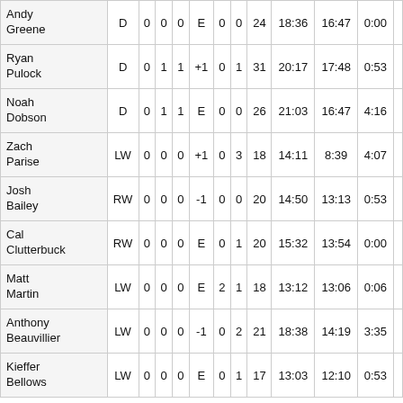| Player | Pos | G | A | P | +/- | PIM | SOG | Jersey | TOI | ES | PP | SH |
| --- | --- | --- | --- | --- | --- | --- | --- | --- | --- | --- | --- | --- |
| Andy Greene | D | 0 | 0 | 0 | E | 0 | 0 | 24 | 18:36 | 16:47 | 0:00 |  |
| Ryan Pulock | D | 0 | 1 | 1 | +1 | 0 | 1 | 31 | 20:17 | 17:48 | 0:53 |  |
| Noah Dobson | D | 0 | 1 | 1 | E | 0 | 0 | 26 | 21:03 | 16:47 | 4:16 |  |
| Zach Parise | LW | 0 | 0 | 0 | +1 | 0 | 3 | 18 | 14:11 | 8:39 | 4:07 |  |
| Josh Bailey | RW | 0 | 0 | 0 | -1 | 0 | 0 | 20 | 14:50 | 13:13 | 0:53 |  |
| Cal Clutterbuck | RW | 0 | 0 | 0 | E | 0 | 1 | 20 | 15:32 | 13:54 | 0:00 |  |
| Matt Martin | LW | 0 | 0 | 0 | E | 2 | 1 | 18 | 13:12 | 13:06 | 0:06 |  |
| Anthony Beauvillier | LW | 0 | 0 | 0 | -1 | 0 | 2 | 21 | 18:38 | 14:19 | 3:35 |  |
| Kieffer Bellows | LW | 0 | 0 | 0 | E | 0 | 1 | 17 | 13:03 | 12:10 | 0:53 |  |